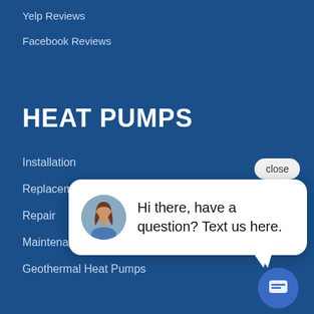Yelp Reviews
Facebook Reviews
HEAT PUMPS
Installation
Replacement
Repair
Maintenance
Geothermal Heat Pumps
[Figure (screenshot): Chat popup with close button and chat launcher. Shows avatar of a woman and message: Hi there, have a question? Text us here.]